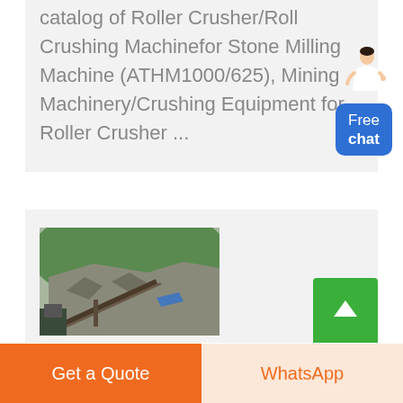catalog of Roller Crusher/Roll Crushing Machinefor Stone Milling Machine (ATHM1000/625), Mining Machinery/Crushing Equipment for Roller Crusher ...
[Figure (photo): Photo of an open-pit mining site with a conveyor belt on a rocky hillside, green mountain in background and blue tarps visible.]
Get a Quote
WhatsApp